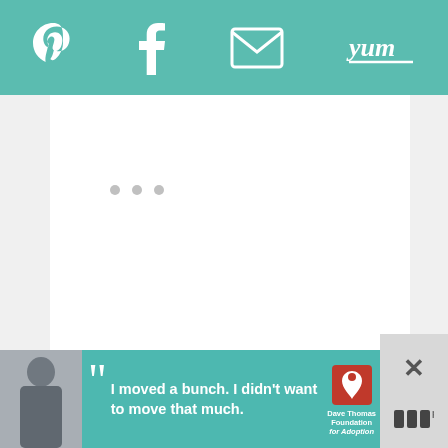[Figure (screenshot): Top navigation bar with teal background showing Pinterest, Facebook, email, and Yummly social share icons in white]
[Figure (screenshot): Main white content area with three small gray dots in the center, likely a loading or carousel indicator]
[Figure (screenshot): Blue circular heart (like) button on the right side with count of 1 below it]
[Figure (screenshot): Blue circular share button on the right side]
[Figure (screenshot): Bottom advertisement banner with teal background showing a teenager photo and Dave Thomas Foundation for Adoption ad with quote: I moved a bunch. I didn't want to move that much.]